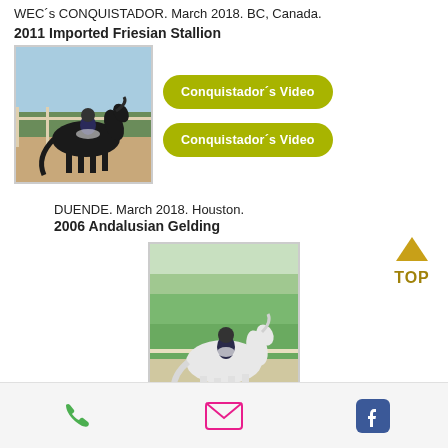WEC´s CONQUISTADOR. March 2018. BC, Canada.
2011 Imported Friesian Stallion
[Figure (photo): Black Friesian stallion being ridden in a dressage arena outdoors]
Conquistador´s Video
Conquistador´s Video
DUENDE. March 2018. Houston.
2006 Andalusian Gelding
[Figure (photo): White/grey Andalusian gelding being ridden in dressage outdoors]
[Figure (other): TOP navigation button with upward arrow in gold/yellow]
WEC´s ANIMO. March 2018. Houston, TX.
2013 Imported Oldenburg Gelding
[Figure (photo): Partial view of horse photo at bottom of page]
Phone | Email | Facebook icons